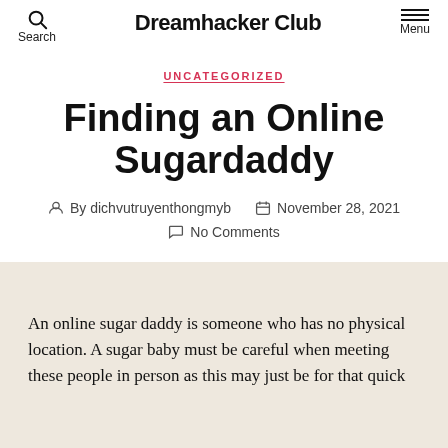Dreamhacker Club
UNCATEGORIZED
Finding an Online Sugardaddy
By dichvutruyenthongmyb   November 28, 2021   No Comments
An online sugar daddy is someone who has no physical location. A sugar baby must be careful when meeting these people in person as this may just be for that quick hookup. Focus on the person's profile, be on the lookout for red flags.